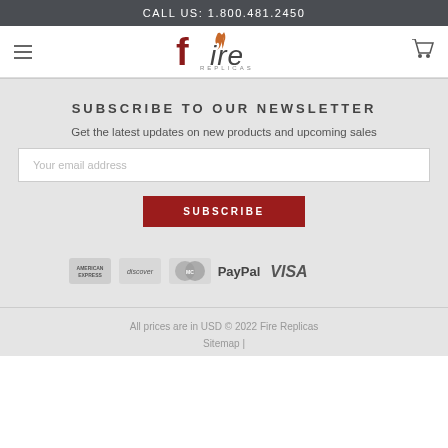CALL US: 1.800.481.2450
[Figure (logo): Fire Replicas logo with stylized flame on the letter i]
SUBSCRIBE TO OUR NEWSLETTER
Get the latest updates on new products and upcoming sales
Your email address
SUBSCRIBE
[Figure (other): Payment icons: American Express, Discover, MasterCard, PayPal, VISA]
All prices are in USD © 2022 Fire Replicas
Sitemap |